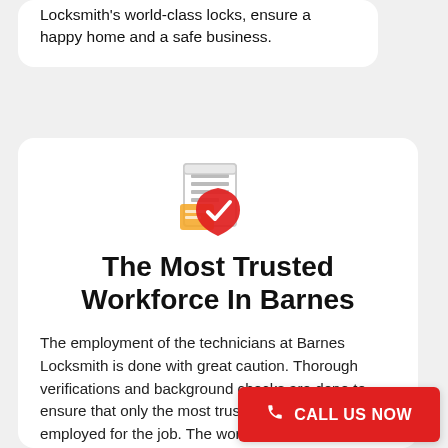Locksmith's world-class locks, ensure a happy home and a safe business.
[Figure (illustration): Icon of a document/checklist with a red shield and checkmark overlay, representing trusted verification]
The Most Trusted Workforce In Barnes
The employment of the technicians at Barnes Locksmith is done with great caution. Thorough verifications and background checks are done to ensure that only the most trusted and efficient are employed for the job. The workforce undergoes regular training to keep up to date with the dynamic locksmith services and technologies.